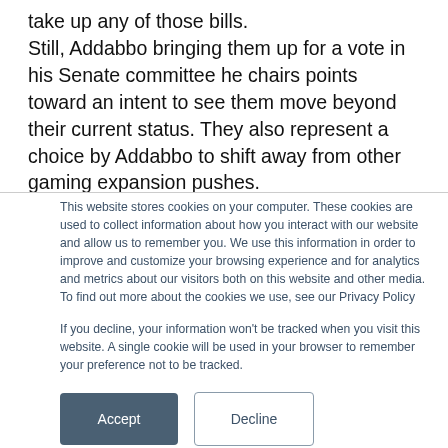take up any of those bills. Still, Addabbo bringing them up for a vote in his Senate committee he chairs points toward an intent to see them move beyond their current status. They also represent a choice by Addabbo to shift away from other gaming expansion pushes.
This website stores cookies on your computer. These cookies are used to collect information about how you interact with our website and allow us to remember you. We use this information in order to improve and customize your browsing experience and for analytics and metrics about our visitors both on this website and other media. To find out more about the cookies we use, see our Privacy Policy
If you decline, your information won't be tracked when you visit this website. A single cookie will be used in your browser to remember your preference not to be tracked.